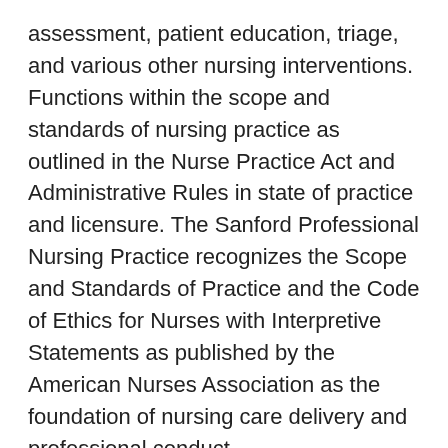assessment, patient education, triage, and various other nursing interventions. Functions within the scope and standards of nursing practice as outlined in the Nurse Practice Act and Administrative Rules in state of practice and licensure. The Sanford Professional Nursing Practice recognizes the Scope and Standards of Practice and the Code of Ethics for Nurses with Interpretive Statements as published by the American Nurses Association as the foundation of nursing care delivery and professional conduct.
Qualifications
Graduate from an accredited nursing program required, including, but not limited to, American Association of Colleges of Nursing (AACN), Accreditation Commission for Education in Nursing (ACEN), and National League for Nursing Commission for Nursing Education Accreditation (NLN CNEA). Bachelor's Degree in nursing preferred.